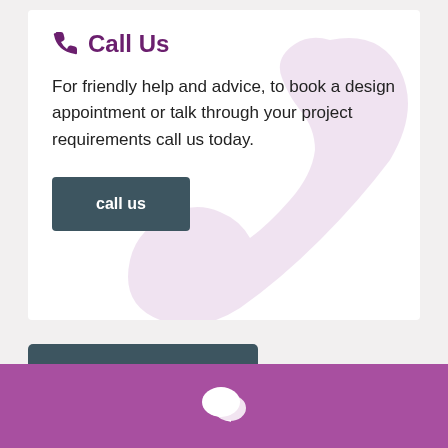Call Us
For friendly help and advice, to book a design appointment or talk through your project requirements call us today.
call us
older articles »
[Figure (illustration): White speech bubble / chat icon centered in purple footer bar]